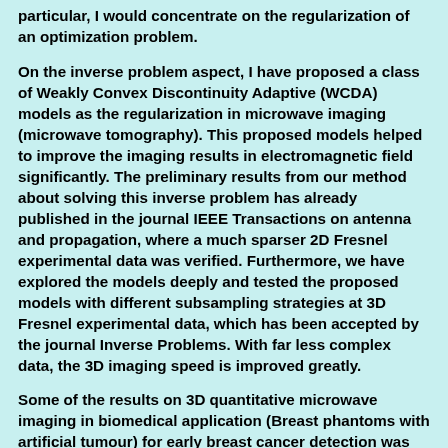particular, I would concentrate on the regularization of an optimization problem.
On the inverse problem aspect, I have proposed a class of Weakly Convex Discontinuity Adaptive (WCDA) models as the regularization in microwave imaging (microwave tomography). This proposed models helped to improve the imaging results in electromagnetic field significantly. The preliminary results from our method about solving this inverse problem has already published in the journal IEEE Transactions on antenna and propagation, where a much sparser 2D Fresnel experimental data was verified. Furthermore, we have explored the models deeply and tested the proposed models with different subsampling strategies at 3D Fresnel experimental data, which has been accepted by the journal Inverse Problems. With far less complex data, the 3D imaging speed is improved greatly.
Some of the results on 3D quantitative microwave imaging in biomedical application (Breast phantoms with artificial tumour) for early breast cancer detection was presented in the 35th Annual International Conference of the IEEE Engineering in Medicine and Biology Society (EMBC'13).
Structured sparsity is another main topic I am interested in